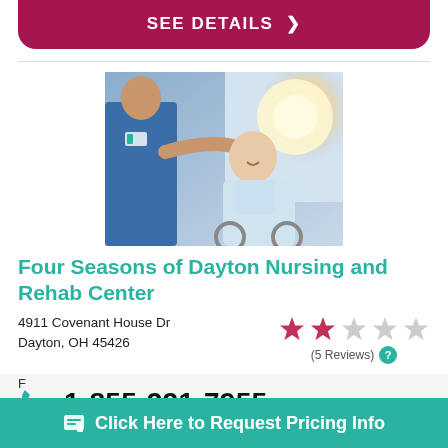SEE DETAILS >
[Figure (photo): Healthcare worker assisting an elderly man in a wheelchair, bright sunlight in background]
Four Seasons of Dayton Nursing and Rehab Center
4911 Covenant House Dr
Dayton, OH 45426
2 out of 5 stars (5 Reviews)
1-855-221-7955
Click Here to Request Pricing Info